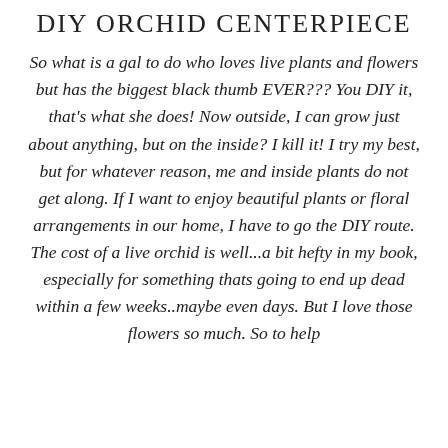DIY ORCHID CENTERPIECE
So what is a gal to do who loves live plants and flowers but has the biggest black thumb EVER??? You DIY it, that's what she does! Now outside, I can grow just about anything, but on the inside? I kill it! I try my best, but for whatever reason, me and inside plants do not get along. If I want to enjoy beautiful plants or floral arrangements in our home, I have to go the DIY route. The cost of a live orchid is well...a bit hefty in my book, especially for something thats going to end up dead within a few weeks..maybe even days. But I love those flowers so much. So to help